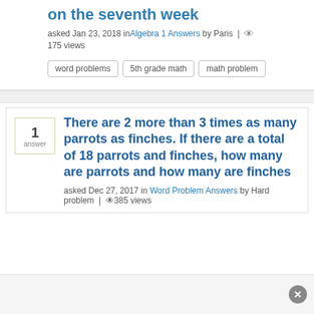on the seventh week
asked Jan 23, 2018 in Algebra 1 Answers by Paris | 175 views
word problems
5th grade math
math problem
There are 2 more than 3 times as many parrots as finches. If there are a total of 18 parrots and finches, how many are parrots and how many are finches
asked Dec 27, 2017 in Word Problem Answers by Hard problem | 385 views